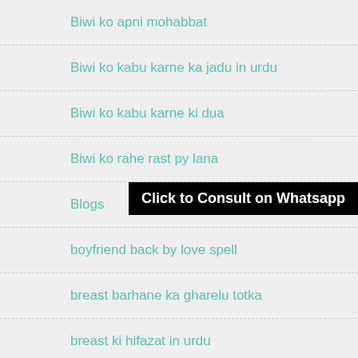Biwi ko apni mohabbat
Biwi ko kabu karne ka jadu in urdu
Biwi ko kabu karne ki dua
Biwi ko rahe rast py lana
Blogs
boyfriend back by love spell
breast barhane ka gharelu totka
breast ki hifazat in urdu
can dua change the person you marry
Can I make dua to marry a specific person in Islam